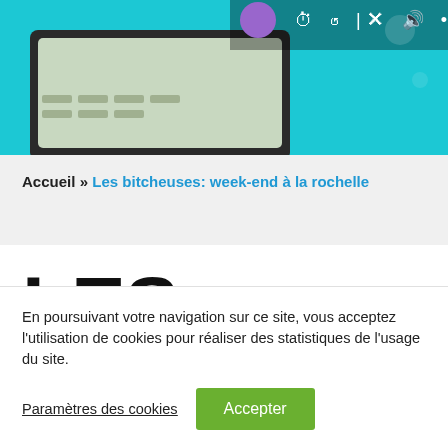[Figure (screenshot): Screenshot of a video player interface on a cyan/turquoise background, showing a calculator or device with control icons (timer, refresh, close, volume, more) visible at the top of the player.]
Accueil » Les bitcheuses: week-end à la rochelle
LES BITCHEUSES:
En poursuivant votre navigation sur ce site, vous acceptez l'utilisation de cookies pour réaliser des statistiques de l'usage du site.
Paramètres des cookies   Accepter